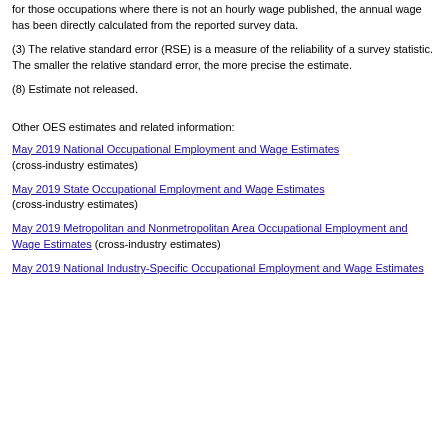for those occupations where there is not an hourly wage published, the annual wage has been directly calculated from the reported survey data.
(3) The relative standard error (RSE) is a measure of the reliability of a survey statistic. The smaller the relative standard error, the more precise the estimate.
(8) Estimate not released.
Other OES estimates and related information:
May 2019 National Occupational Employment and Wage Estimates (cross-industry estimates)
May 2019 State Occupational Employment and Wage Estimates (cross-industry estimates)
May 2019 Metropolitan and Nonmetropolitan Area Occupational Employment and Wage Estimates (cross-industry estimates)
May 2019 National Industry-Specific Occupational Employment and Wage Estimates